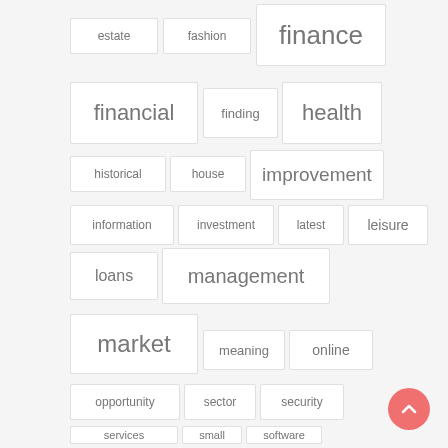[Figure (infographic): Tag cloud of finance-related keywords displayed as word tags in bordered boxes at various font sizes, arranged in rows. Tags include: estate, fashion, finance, financial, finding, health, historical, house, improvement, information, investment, latest, leisure, loans, management, market, meaning, online, opportunity, sector, security, services, small, software. A pink circular scroll-to-top button appears in the bottom right.]